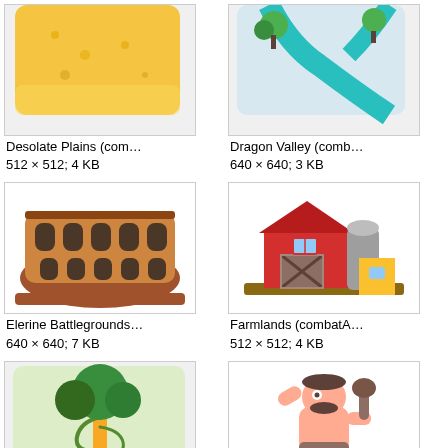[Figure (illustration): Desolate Plains game map thumbnail - sandy/desert colored terrain]
Desolate Plains (com…
512 × 512; 4 KB
[Figure (illustration): Dragon Valley game map thumbnail - light blue/teal road/path with trees]
Dragon Valley (comb…
640 × 640; 3 KB
[Figure (illustration): Elerine Battlegrounds game map thumbnail - brown Colosseum illustration]
Elerine Battlegrounds…
640 × 640; 7 KB
[Figure (illustration): Farmlands game map thumbnail - red barn with silo illustration]
Farmlands (combatA…
512 × 512; 4 KB
[Figure (illustration): Forest/jungle game map thumbnail - green trees on light green background]
[Figure (illustration): Caveman/troll character illustration - peach/tan humanoid holding a club]